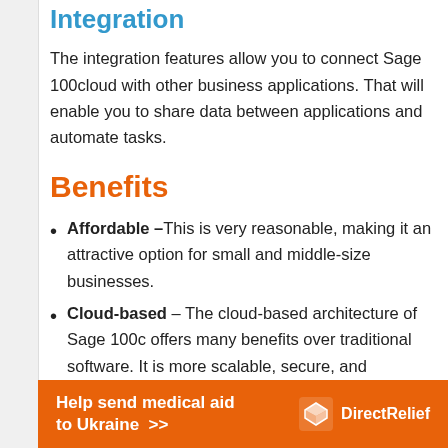Integration
The integration features allow you to connect Sage 100cloud with other business applications. That will enable you to share data between applications and automate tasks.
Benefits
Affordable –This is very reasonable, making it an attractive option for small and middle-size businesses.
Cloud-based – The cloud-based architecture of Sage 100c offers many benefits over traditional software. It is more scalable, secure, and
[Figure (infographic): Orange banner advertisement: 'Help send medical aid to Ukraine >>' with DirectRelief logo on right side]